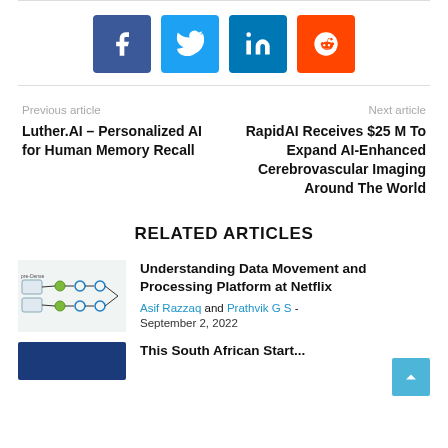[Figure (infographic): Social sharing icons: Facebook (dark blue), Twitter (light blue), LinkedIn (dark blue), Reddit (orange)]
Previous article
Luther.AI – Personalized AI for Human Memory Recall
Next article
RapidAI Receives $25 M To Expand AI-Enhanced Cerebrovascular Imaging Around The World
RELATED ARTICLES
[Figure (screenshot): Thumbnail showing a data flow diagram with green nodes and arrows on white background]
Understanding Data Movement and Processing Platform at Netflix
Asif Razzaq and Prathvik G S - September 2, 2022
[Figure (illustration): Blue rectangle thumbnail for next article]